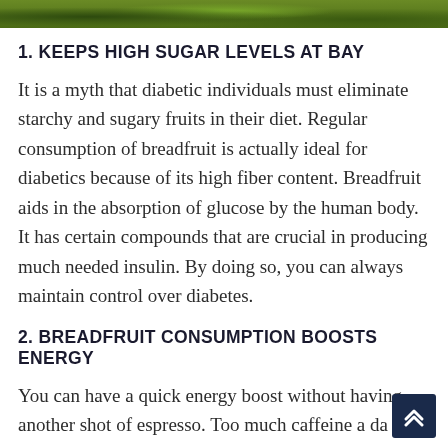[Figure (photo): Green foliage/leaves background image strip at top of page]
1. KEEPS HIGH SUGAR LEVELS AT BAY
It is a myth that diabetic individuals must eliminate starchy and sugary fruits in their diet. Regular consumption of breadfruit is actually ideal for diabetics because of its high fiber content. Breadfruit aids in the absorption of glucose by the human body. It has certain compounds that are crucial in producing much needed insulin. By doing so, you can always maintain control over diabetes.
2. BREADFRUIT CONSUMPTION BOOSTS ENERGY
You can have a quick energy boost without having another shot of espresso. Too much caffeine a da